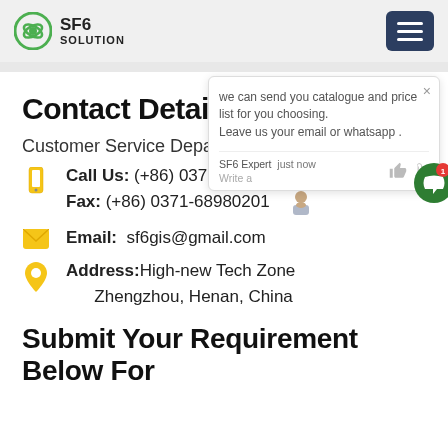SF6 SOLUTION
Contact Details
Customer Service Department
Call Us: (+86) 0371-68988008
Fax: (+86) 0371-68980201
Email:  sf6gis@gmail.com
Address: High-new Tech Zone Zhengzhou, Henan, China
Submit Your Requirement Below For